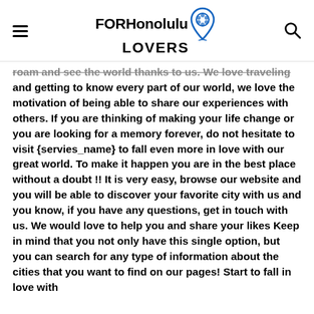FOR Honolulu LOVERS
roam and see the world thanks to us. We love traveling and getting to know every part of our world, we love the motivation of being able to share our experiences with others. If you are thinking of making your life change or you are looking for a memory forever, do not hesitate to visit {servies_name} to fall even more in love with our great world. To make it happen you are in the best place without a doubt !! It is very easy, browse our website and you will be able to discover your favorite city with us and you know, if you have any questions, get in touch with us. We would love to help you and share your likes Keep in mind that you not only have this single option, but you can search for any type of information about the cities that you want to find on our pages! Start to fall in love with